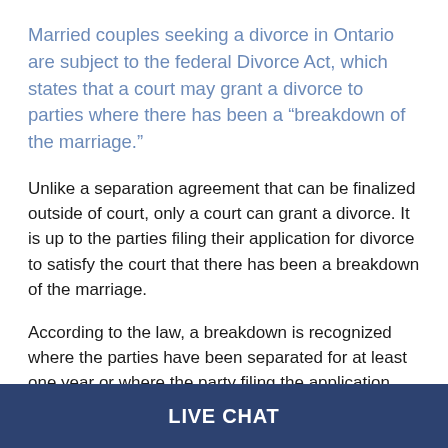Married couples seeking a divorce in Ontario are subject to the federal Divorce Act, which states that a court may grant a divorce to parties where there has been a “breakdown of the marriage.”
Unlike a separation agreement that can be finalized outside of court, only a court can grant a divorce. It is up to the parties filing their application for divorce to satisfy the court that there has been a breakdown of the marriage.
According to the law, a breakdown is recognized where the parties have been separated for at least one year or where the party filing the application proves that the…
LIVE CHAT